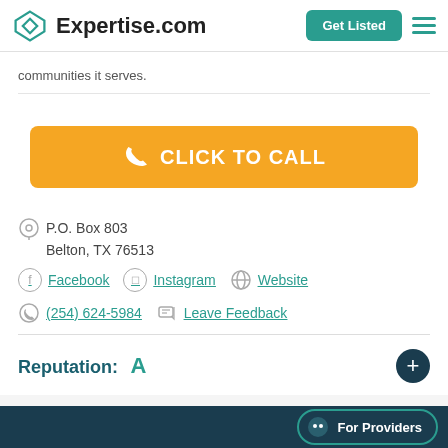Expertise.com | Get Listed
communities it serves.
CLICK TO CALL
P.O. Box 803
Belton, TX 76513
Facebook  Instagram  Website
(254) 624-5984  Leave Feedback
Reputation: A
For Providers